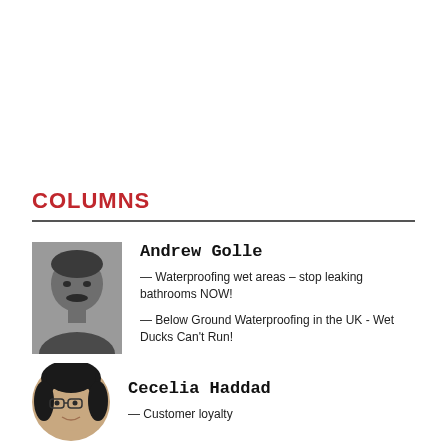COLUMNS
[Figure (photo): Black and white headshot photo of Andrew Golle, a middle-aged man with dark hair and a mustache]
Andrew Golle
— Waterproofing wet areas – stop leaking bathrooms NOW!
— Below Ground Waterproofing in the UK - Wet Ducks Can't Run!
[Figure (photo): Color headshot photo of Cecelia Haddad, a woman with dark hair and glasses]
Cecelia Haddad
— Customer loyalty